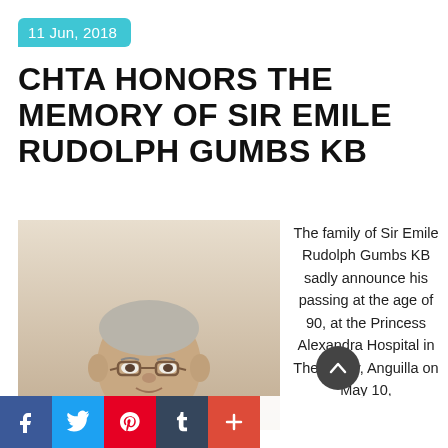11 Jun, 2018
CHTA HONORS THE MEMORY OF SIR EMILE RUDOLPH GUMBS KB
[Figure (photo): Portrait photo of Sir Emile Rudolph Gumbs KB, an elderly man wearing glasses, a dark suit, and a dark tie, shown from chest up against a light background.]
The family of Sir Emile Rudolph Gumbs KB sadly announce his passing at the age of 90, at the Princess Alexandra Hospital in The Valley, Anguilla on May 10,